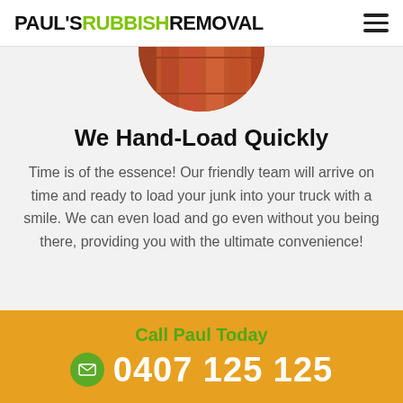PAUL'S RUBBISH REMOVAL
[Figure (photo): Circular cropped photo of wooden decking/floorboards in orange-red tones, partially visible at top of content area]
We Hand-Load Quickly
Time is of the essence! Our friendly team will arrive on time and ready to load your junk into your truck with a smile. We can even load and go even without you being there, providing you with the ultimate convenience!
Call Paul Today
0407 125 125